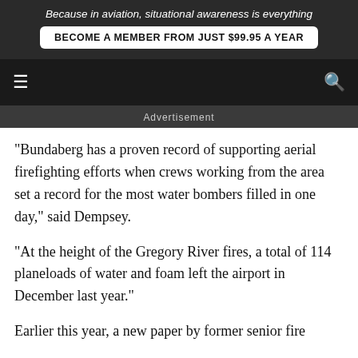Because in aviation, situational awareness is everything
BECOME A MEMBER FROM JUST $99.95 A YEAR
Advertisement
“Bundaberg has a proven record of supporting aerial firefighting efforts when crews working from the area set a record for the most water bombers filled in one day,” said Dempsey.
“At the height of the Gregory River fires, a total of 114 planeloads of water and foam left the airport in December last year.”
Earlier this year, a new paper by former senior fire